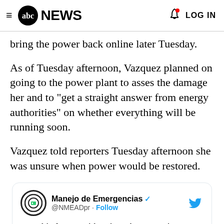abc NEWS  LOG IN
bring the power back online later Tuesday.
As of Tuesday afternoon, Vazquez planned on going to the power plant to asses the damage her and to "get a straight answer from energy authorities" on whether everything will be running soon.
Vazquez told reporters Tuesday afternoon she was unsure when power would be restored.
Manejo de Emergencias @NMEADpr · Follow
Aquí información de cómo podemos